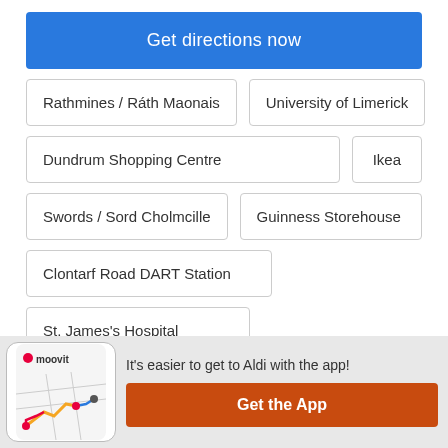Get directions now
Rathmines / Ráth Maonais
University of Limerick
Dundrum Shopping Centre
Ikea
Swords / Sord Cholmcille
Guinness Storehouse
Clontarf Road DART Station
St. James's Hospital
It's easier to get to Aldi with the app!
Get the App